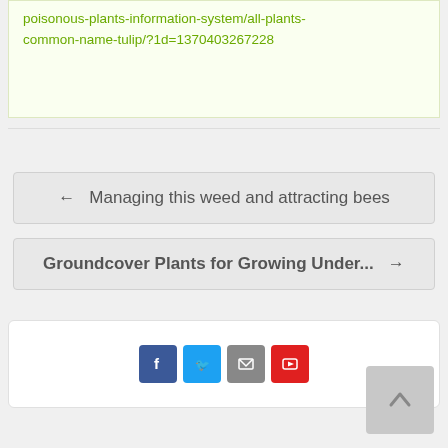poisonous-plants-information-system/all-plants-common-name-tulip/?1d=1370403267228
← Managing this weed and attracting bees
Groundcover Plants for Growing Under... →
[Figure (other): Social media share buttons: Facebook, Twitter, Email, YouTube]